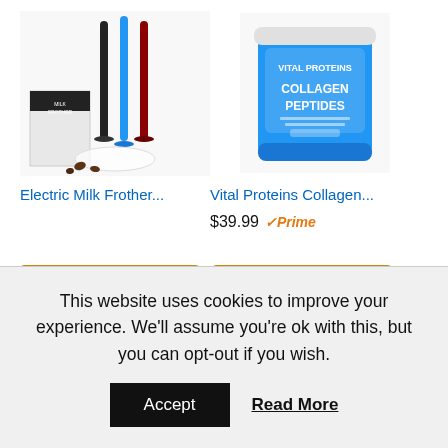[Figure (photo): Electric Milk Frother product image showing multiple frother wands in black, blue, and red colors with packaging]
[Figure (photo): Vital Proteins Collagen Peptides supplement in a blue and white container]
Electric Milk Frother...
Vital Proteins Collagen...
$39.99 Prime
[Figure (screenshot): Two Shop now buttons with Amazon logo (gold background) and Amazon logo with arrow]
[Figure (photo): Collagen Peptides product in dark container with teal text, partially cropped at bottom]
This website uses cookies to improve your experience. We'll assume you're ok with this, but you can opt-out if you wish.
Accept
Read More